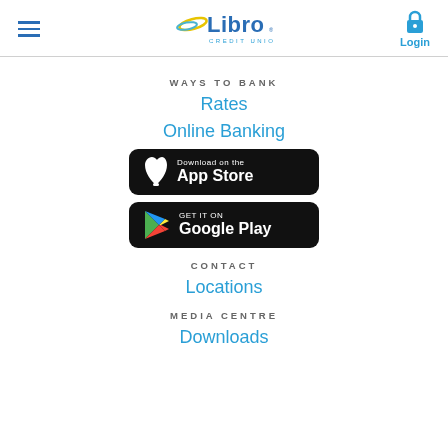Libro Credit Union — hamburger menu | logo | Login
WAYS TO BANK
Rates
Online Banking
[Figure (screenshot): Download on the App Store button]
[Figure (screenshot): GET IT ON Google Play button]
CONTACT
Locations
MEDIA CENTRE
Downloads